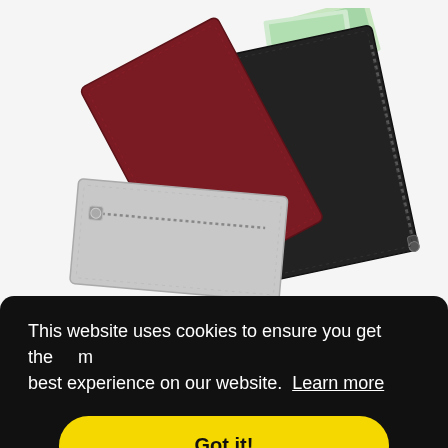[Figure (photo): Three leather zipper pouches/wallets fanned out — grey with zipper on left, dark red/maroon in center, black on right — with paper currency visible in the black pouch. White background.]
This website uses cookies to ensure you get the best experience on our website. Learn more
Got it!